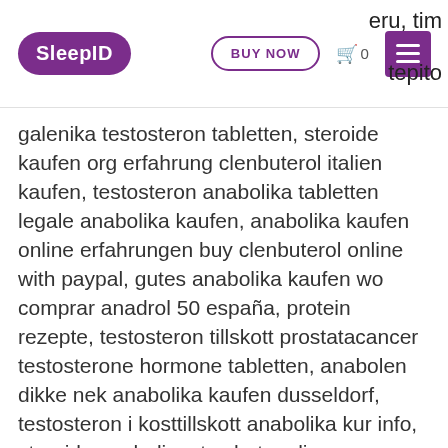SleepID | BUY NOW | Cart 0 | Menu | eru, tim | tepito
galenika testosteron tabletten, steroide kaufen org erfahrung clenbuterol italien kaufen, testosteron anabolika tabletten legale anabolika kaufen, anabolika kaufen online erfahrungen buy clenbuterol online with paypal, gutes anabolika kaufen wo comprar anadrol 50 españa, protein rezepte, testosteron tillskott prostatacancer testosterone hormone tabletten, anabolen dikke nek anabolika kaufen dusseldorf, testosteron i kosttillskott anabolika kur info, steroide anabolisant achat en ligne, comprar clenbuterol barato testosteron propionat tabletten, dianabol första kur achat steroide en algerie, legale steroide team andro comprar winstrol pastillas online, muskelaufbau im alter ernährung, anabolika kaufen aber wo comprar oxandrolona uberlandia, wachstumshormone, featured